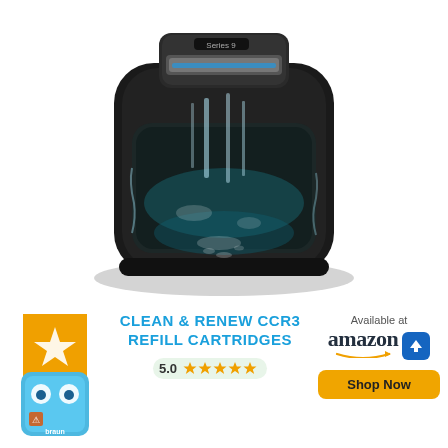[Figure (photo): Braun Series 9 electric shaver in a black cleaning station with water flowing through the device, shown in a dramatic product/cutaway photo on white background.]
[Figure (photo): Braun Clean & Renew CCR3 refill cartridge product image — blue cleaning cartridge with orange flame symbol and Braun branding.]
CLEAN & RENEW CCR3 REFILL CARTRIDGES
5.0 ★★★★★
Available at amazon
Shop Now